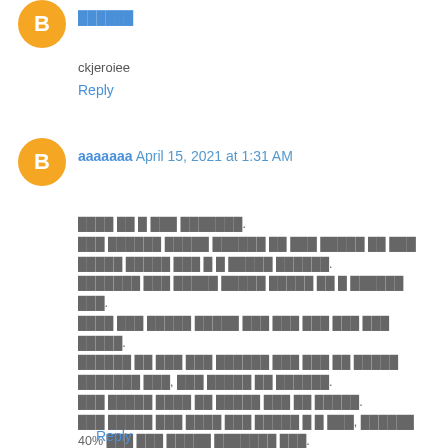[Figure (illustration): Orange circular Blogger avatar icon for first commenter]
██████
ckjeroiee
Reply
[Figure (illustration): Orange circular Blogger avatar icon for second commenter]
aaaaaaa  April 15, 2021 at 1:31 AM
████ ██ █ ███ ███████.
███ ██████ █████ ██████ ██ ███ █████ ██ ███ █████ █████ ███ █ █ █████ ██████.
███████ ███ █████ █████ █████ ██ █ ██████ ███.
████ ███ █████ █████ ███ ███ ███ ███ ███ █████.
██████ ██ ███ ███ ██████ ███ ███ ██ █████ ███████ ███, ███ █████ ██ ██████.
███ █████ ████ ██ █████ ███ ██ █████.
███ █████ ███ ████ ███ █████ █ █ ███, ██████ 40% ███ ███ █████ ███████ ███.
███ ███ ███ ███ ███ ██ █████ ██ █████ ███ █████ ███ █████ ███ █████ ███ ███ ██████.
██████
Reply